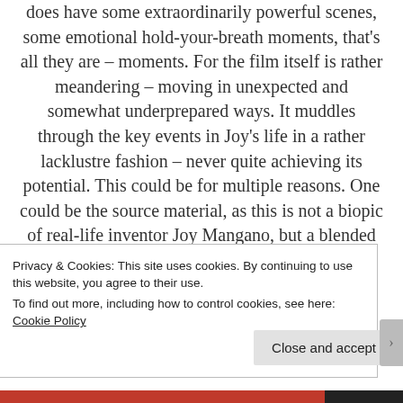does have some extraordinarily powerful scenes, some emotional hold-your-breath moments, that's all they are – moments. For the film itself is rather meandering – moving in unexpected and somewhat underprepared ways. It muddles through the key events in Joy's life in a rather lacklustre fashion – never quite achieving its potential. This could be for multiple reasons. One could be the source material, as this is not a biopic of real-life inventor Joy Mangano, but a blended narrative of multiple women. Or David O. Russell's direction…
Privacy & Cookies: This site uses cookies. By continuing to use this website, you agree to their use.
To find out more, including how to control cookies, see here: Cookie Policy
Close and accept